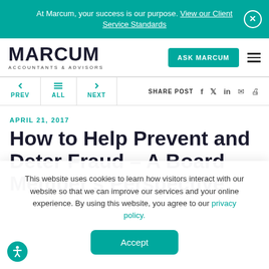At Marcum, your success is our purpose. View our Client Service Standards
[Figure (logo): Marcum Accountants & Advisors logo]
ASK MARCUM
< PREV  ALL  > NEXT  SHARE POST
APRIL 21, 2017
How to Help Prevent and Deter Fraud – A Board Member's Perspective
This website uses cookies to learn how visitors interact with our website so that we can improve our services and your online experience. By using this website, you agree to our privacy policy.
Accept